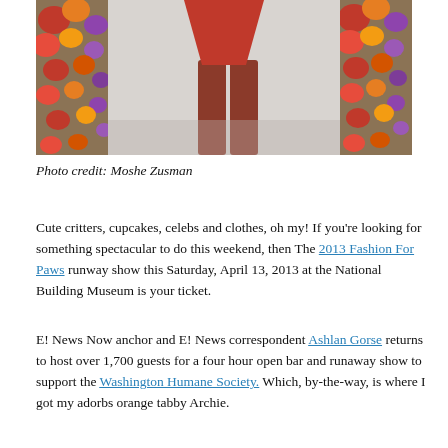[Figure (photo): Fashion runway show photo showing a model's legs in red clothing walking between floral columns decorated with flowers, grey background]
Photo credit: Moshe Zusman
Cute critters, cupcakes, celebs and clothes, oh my! If you're looking for something spectacular to do this weekend, then The 2013 Fashion For Paws runway show this Saturday, April 13, 2013 at the National Building Museum is your ticket.
E! News Now anchor and E! News correspondent Ashlan Gorse returns to host over 1,700 guests for a four hour open bar and runaway show to support the Washington Humane Society. Which, by-the-way, is where I got my adorbs orange tabby Archie.